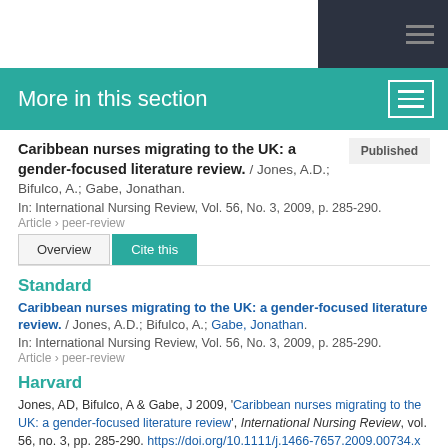More in this section
Caribbean nurses migrating to the UK: a gender-focused literature review. / Jones, A.D.; Bifulco, A.; Gabe, Jonathan.
In: International Nursing Review, Vol. 56, No. 3, 2009, p. 285-290.
Article › peer-review
Standard
Caribbean nurses migrating to the UK: a gender-focused literature review. / Jones, A.D.; Bifulco, A.; Gabe, Jonathan.
In: International Nursing Review, Vol. 56, No. 3, 2009, p. 285-290.
Article › peer-review
Harvard
Jones, AD, Bifulco, A & Gabe, J 2009, 'Caribbean nurses migrating to the UK: a gender-focused literature review', International Nursing Review, vol. 56, no. 3, pp. 285-290. https://doi.org/10.1111/j.1466-7657.2009.00734.x